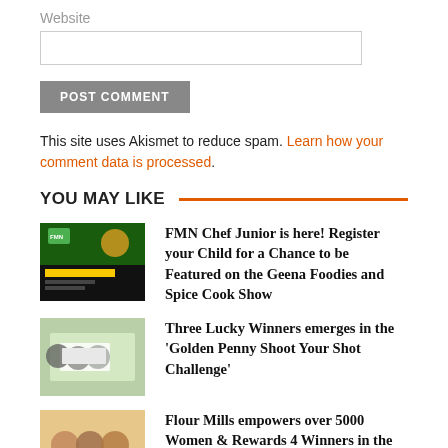Website
POST COMMENT
This site uses Akismet to reduce spam. Learn how your comment data is processed.
YOU MAY LIKE
[Figure (photo): Thumbnail image for FMN Chef Junior article showing cooking promotion]
FMN Chef Junior is here! Register your Child for a Chance to be Featured on the Geena Foodies and Spice Cook Show
[Figure (photo): Thumbnail image for Golden Penny Shoot Your Shot Challenge showing winners with cheque]
Three Lucky Winners emerges in the 'Golden Penny Shoot Your Shot Challenge'
[Figure (photo): Thumbnail image for Flour Mills women empowerment article]
Flour Mills empowers over 5000 Women & Rewards 4 Winners in the 'August Golden Bottle…